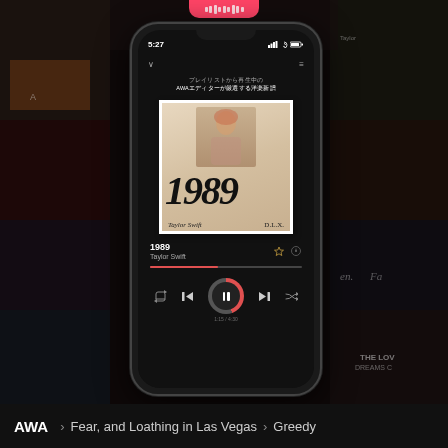[Figure (screenshot): AWA music streaming app screenshot showing Taylor Swift '1989 (Deluxe)' album playing on iPhone, with collage of album covers in background]
AWA  >  Fear, and Loathing in Las Vegas  >  Greedy